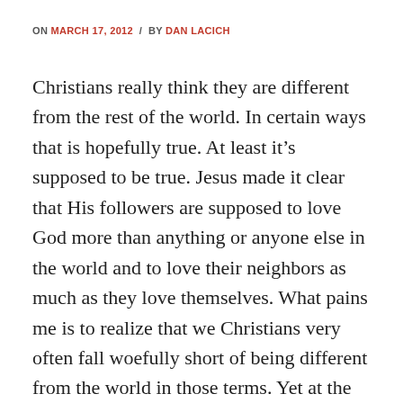ON MARCH 17, 2012 / BY DAN LACICH
Christians really think they are different from the rest of the world. In certain ways that is hopefully true. At least it’s supposed to be true. Jesus made it clear that His followers are supposed to love God more than anything or anyone else in the world and to love their neighbors as much as they love themselves. What pains me is to realize that we Christians very often fall woefully short of being different from the world in those terms. Yet at the same time we can be very different from the world in terms of surface issues. By surface issues I mean things like, using foul language, attending worship services, and praying before we eat.